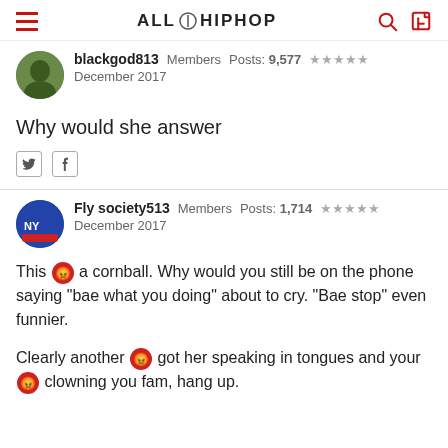ALL HIPHOP
blackgod813   Members   Posts: 9,577  ★★★★★
December 2017
Why would she answer
Fly society513   Members   Posts: 1,714  ★★★★★
December 2017
This [emoji] a cornball. Why would you still be on the phone saying "bae what you doing" about to cry. "Bae stop" even funnier.
Clearly another [emoji] got her speaking in tongues and your [emoji] clowning you fam, hang up.